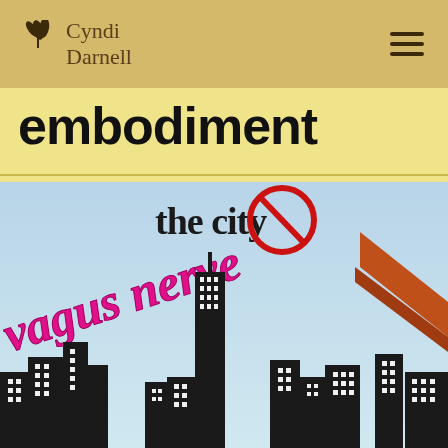Cyndi Darnell
embodiment
[Figure (illustration): Book cover or promotional image showing a city skyline silhouette with large stylized text reading 'the city' and 'vagus nerve' in pink/magenta italic font, with a no-sign (circle with slash) over 'city', set against a light blue sky background with a tall skyscraper and bridge element visible.]